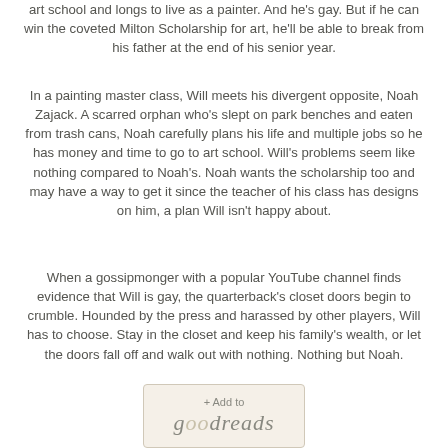art school and longs to live as a painter. And he's gay. But if he can win the coveted Milton Scholarship for art, he'll be able to break from his father at the end of his senior year.
In a painting master class, Will meets his divergent opposite, Noah Zajack. A scarred orphan who's slept on park benches and eaten from trash cans, Noah carefully plans his life and multiple jobs so he has money and time to go to art school. Will's problems seem like nothing compared to Noah's. Noah wants the scholarship too and may have a way to get it since the teacher of his class has designs on him, a plan Will isn't happy about.
When a gossipmonger with a popular YouTube channel finds evidence that Will is gay, the quarterback's closet doors begin to crumble. Hounded by the press and harassed by other players, Will has to choose. Stay in the closet and keep his family's wealth, or let the doors fall off and walk out with nothing. Nothing but Noah.
[Figure (logo): Goodreads 'Add to' button with goodreads logo in italic serif font]